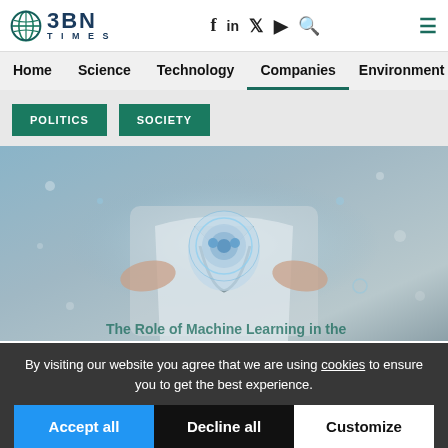BBN TIMES
Home
Science
Technology
Companies
Environment
POLITICS
SOCIETY
[Figure (photo): Doctor or medical professional holding a glowing AI robot head between their hands, with a stethoscope visible, on a blue background with bokeh light effects]
The Role of Machine Learning in the
By visiting our website you agree that we are using cookies to ensure you to get the best experience.
Accept all   Decline all   Customize